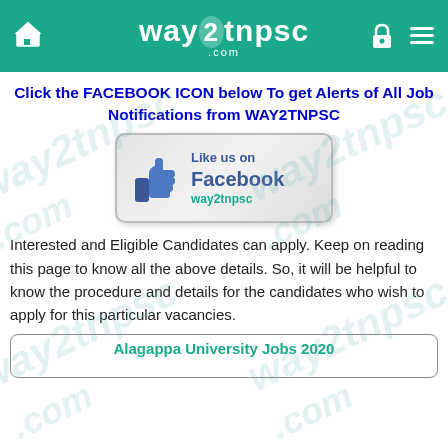way2tnpsc.com
Click the FACEBOOK ICON below To get Alerts of All Job Notifications from WAY2TNPSC
[Figure (illustration): Like us on Facebook way2tnpsc button with thumbs up icon]
Interested and Eligible Candidates can apply. Keep on reading this page to know all the above details. So, it will be helpful to know the procedure and details for the candidates who wish to apply for this particular vacancies.
Alagappa University Jobs 2020